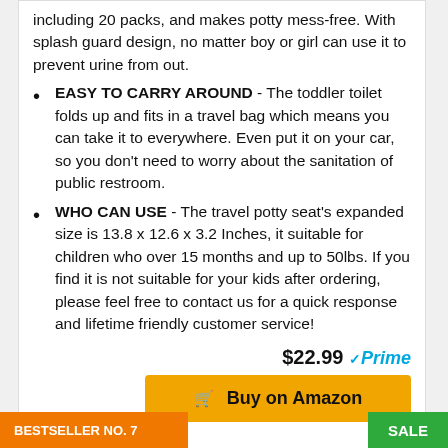including 20 packs, and makes potty mess-free. With splash guard design, no matter boy or girl can use it to prevent urine from out.
EASY TO CARRY AROUND - The toddler toilet folds up and fits in a travel bag which means you can take it to everywhere. Even put it on your car, so you don't need to worry about the sanitation of public restroom.
WHO CAN USE - The travel potty seat's expanded size is 13.8 x 12.6 x 3.2 Inches, it suitable for children who over 15 months and up to 50lbs. If you find it is not suitable for your kids after ordering, please feel free to contact us for a quick response and lifetime friendly customer service!
$22.99 Prime
Buy on Amazon
BESTSELLER NO. 7
SALE